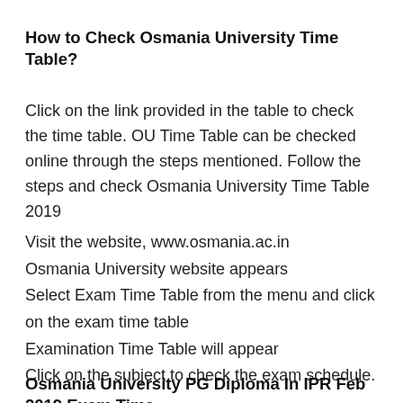How to Check Osmania University Time Table?
Click on the link provided in the table to check the time table. OU Time Table can be checked online through the steps mentioned. Follow the steps and check Osmania University Time Table 2019
Visit the website, www.osmania.ac.in
Osmania University website appears
Select Exam Time Table from the menu and click on the exam time table
Examination Time Table will appear
Click on the subject to check the exam schedule.
Osmania University PG Diploma In IPR Feb 2019 Exam Time